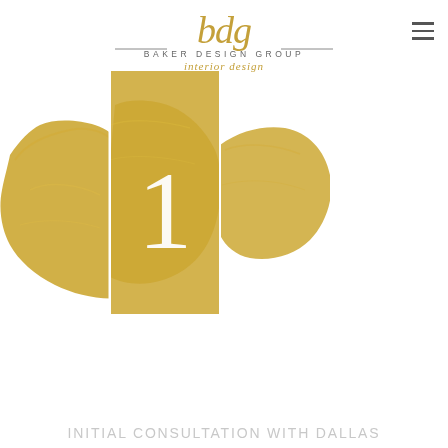[Figure (logo): Baker Design Group interior design logo with stylized 'bdg' lettering in gold script, horizontal lines flanking 'BAKER DESIGN GROUP' text, and 'interior design' script below]
[Figure (illustration): Gold paintbrush stroke artwork divided into three vertical panels with the number '1' in white serif font overlaid on the center panel, displayed as a triptych]
INITIAL CONSULTATION WITH DALLAS